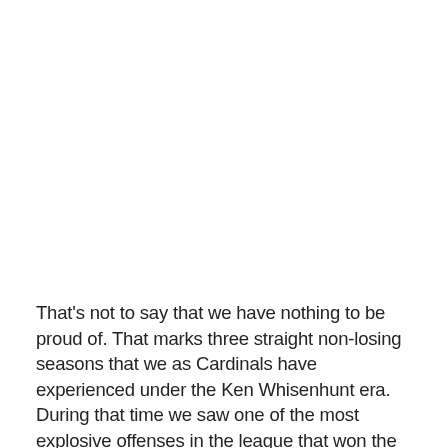That's not to say that we have nothing to be proud of. That marks three straight non-losing seasons that we as Cardinals have experienced under the Ken Whisenhunt era. During that time we saw one of the most explosive offenses in the league that won the division twice, won four playoff games and one NFC